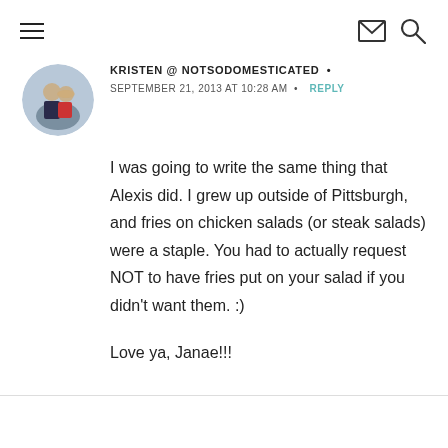Navigation menu, email icon, search icon
KRISTEN @ NOTSODOMESTICATED · SEPTEMBER 21, 2013 AT 10:28 AM · REPLY
I was going to write the same thing that Alexis did. I grew up outside of Pittsburgh, and fries on chicken salads (or steak salads) were a staple. You had to actually request NOT to have fries put on your salad if you didn't want them. :)

Love ya, Janae!!!